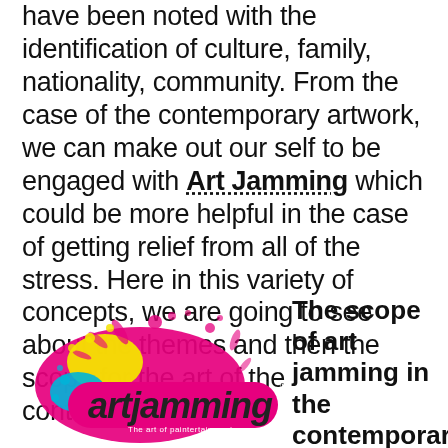have been noted with the identification of culture, family, nationality, community. From the case of the contemporary artwork, we can make out our self to be engaged with Art Jamming which could be more helpful in the case of getting relief from all of the stress. Here in this variety of concepts, we are going to see about the themes and then the scope for the art of the contemporary period.
[Figure (logo): Art Jamming logo — colorful paint splatter with pink/yellow/cyan splashes and the text 'artjamming' in a hot-pink rounded font on a dark pink banner, with tagline 'The art of paintertainment']
The scope of art jamming in the contemporary period: In